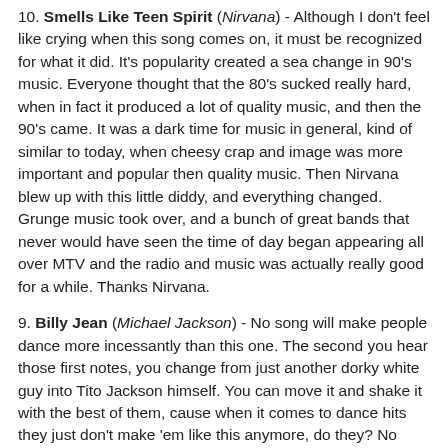10. Smells Like Teen Spirit (Nirvana) - Although I don't feel like crying when this song comes on, it must be recognized for what it did. It's popularity created a sea change in 90's music. Everyone thought that the 80's sucked really hard, when in fact it produced a lot of quality music, and then the 90's came. It was a dark time for music in general, kind of similar to today, when cheesy crap and image was more important and popular then quality music. Then Nirvana blew up with this little diddy, and everything changed. Grunge music took over, and a bunch of great bands that never would have seen the time of day began appearing all over MTV and the radio and music was actually really good for a while. Thanks Nirvana.
9. Billy Jean (Michael Jackson) - No song will make people dance more incessantly than this one. The second you hear those first notes, you change from just another dorky white guy into Tito Jackson himself. You can move it and shake it with the best of them, cause when it comes to dance hits they just don't make 'em like this anymore, do they? No they do not.
8. Freebird (Lynyrd Skynyrd As Watch Here sort of 1999...